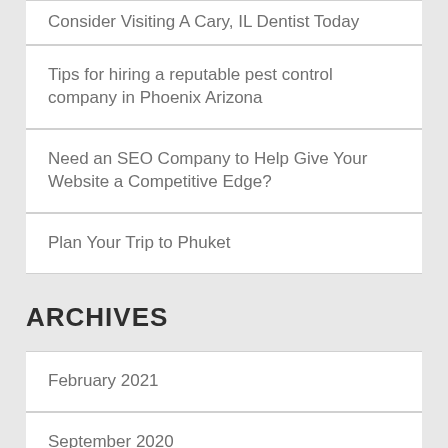Consider Visiting A Cary, IL Dentist Today
Tips for hiring a reputable pest control company in Phoenix Arizona
Need an SEO Company to Help Give Your Website a Competitive Edge?
Plan Your Trip to Phuket
ARCHIVES
February 2021
September 2020
July 2020
December 2019